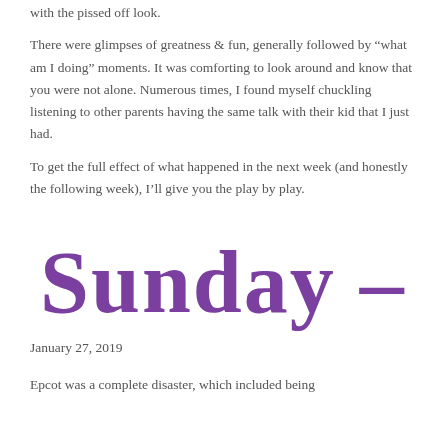with the pissed off look.
There were glimpses of greatness & fun, generally followed by “what am I doing” moments. It was comforting to look around and know that you were not alone. Numerous times, I found myself chuckling listening to other parents having the same talk with their kid that I just had.
To get the full effect of what happened in the next week (and honestly the following week), I’ll give you the play by play.
[Figure (illustration): Decorative handwritten-style purple text reading 'Sunday -']
January 27, 2019
Epcot was a complete disaster, which included being